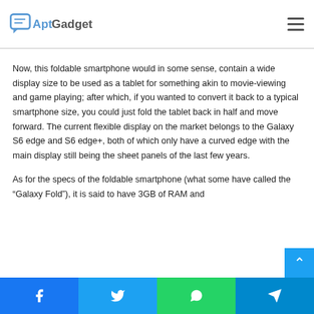AptGadget
Now, this foldable smartphone would in some sense, contain a wide display size to be used as a tablet for something akin to movie-viewing and game playing; after which, if you wanted to convert it back to a typical smartphone size, you could just fold the tablet back in half and move forward. The current flexible display on the market belongs to the Galaxy S6 edge and S6 edge+, both of which only have a curved edge with the main display still being the sheet panels of the last few years.
As for the specs of the foldable smartphone (what some have called the “Galaxy Fold”), it is said to have 3GB of RAM and
Facebook | Twitter | WhatsApp | Telegram